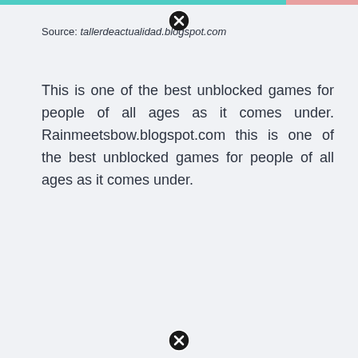[Figure (other): Teal and red/pink top bar banner strip across the top of the page]
[Figure (other): Close/dismiss button (circled X icon) at top center]
Source: tallerdeactualidad.blogspot.com
This is one of the best unblocked games for people of all ages as it comes under. Rainmeetsbow.blogspot.com this is one of the best unblocked games for people of all ages as it comes under.
[Figure (other): Close/dismiss button (circled X icon) at bottom center]